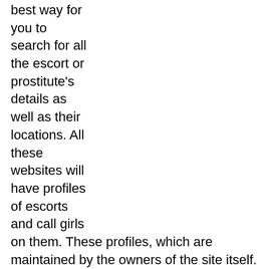best way for you to search for all the escort or prostitute's details as well as their locations. All these websites will have profiles of escorts and call girls on them. These profiles, which are maintained by the owners of the site itself.
Sluts Local MN
Consequently, you have very less chance of finding